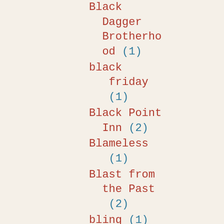Black Dagger Brotherhood (1)
black friday (1)
Black Point Inn (2)
Blameless (1)
Blast from the Past (2)
bling (1)
block print (1)
block print